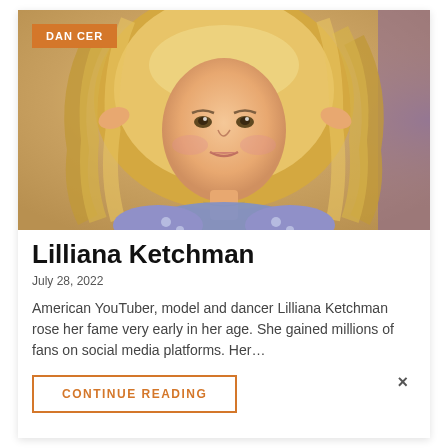[Figure (photo): Photo of Lilliana Ketchman, a young blonde woman with wavy hair wearing a blue floral off-shoulder top, hands in hair, posing against a warm background. An orange 'DANCER' badge appears in the top-left corner of the photo.]
Lilliana Ketchman
July 28, 2022
American YouTuber, model and dancer Lilliana Ketchman rose her fame very early in her age. She gained millions of fans on social media platforms. Her…
CONTINUE READING